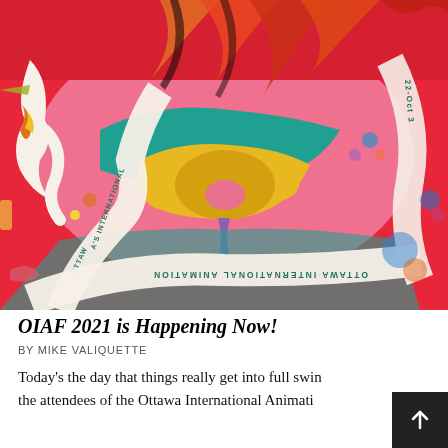[Figure (illustration): Colorful psychedelic illustration serving as the OIAF 2021 festival poster. Features a stylized figure with flowing red/orange hair against a red background, with a large snake/serpent whose body forms the text 'Ottawa International Animation Festival' and '22–Oct 3' along its body. Bright colors including pink, teal, yellow, blue, and red.]
OIAF 2021 is Happening Now!
BY MIKE VALIQUETTE
Today's the day that things really get into full swing for the attendees of the Ottawa International Animati